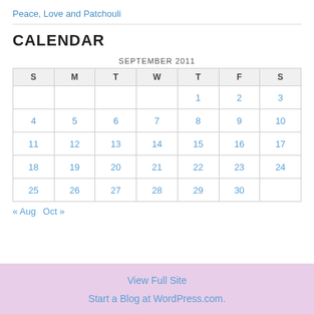Peace, Love and Patchouli
CALENDAR
| S | M | T | W | T | F | S |
| --- | --- | --- | --- | --- | --- | --- |
|  |  |  |  | 1 | 2 | 3 |
| 4 | 5 | 6 | 7 | 8 | 9 | 10 |
| 11 | 12 | 13 | 14 | 15 | 16 | 17 |
| 18 | 19 | 20 | 21 | 22 | 23 | 24 |
| 25 | 26 | 27 | 28 | 29 | 30 |  |
« Aug   Oct »
View Full Site
Start a Blog at WordPress.com.